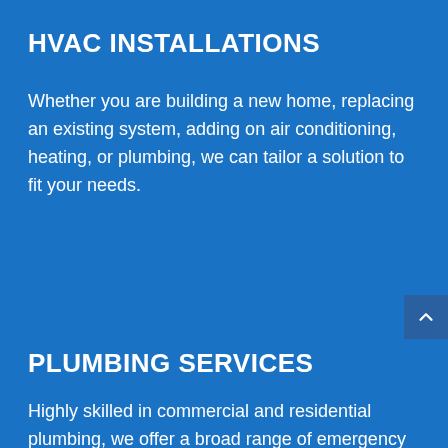HVAC INSTALLATIONS
Whether you are building a new home, replacing an existing system, adding on air conditioning, heating, or plumbing, we can tailor a solution to fit your needs.
PLUMBING SERVICES
Highly skilled in commercial and residential plumbing, we offer a broad range of emergency and non-emergency plumbing services.